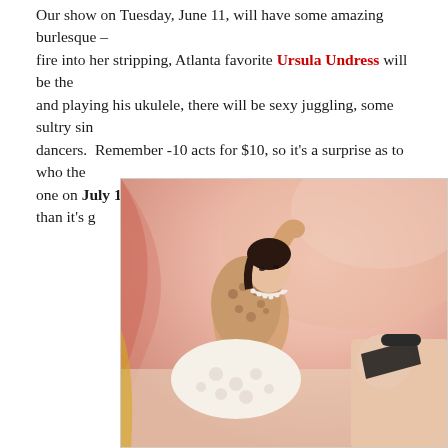Our show on Tuesday, June 11, will have some amazing burlesque - fire into her stripping, Atlanta favorite Ursula Undress will be there and playing his ukulele, there will be sexy juggling, some sultry sin dancers. Remember -10 acts for $10, so it's a surprise as to who the one on July 16 is so secret I can't tell you anything other than it's g
[Figure (photo): A burlesque performer posing in a leopard print corset with pearl necklace and white polka dot bottoms, with another performer's legs visible, against a pink draped background]